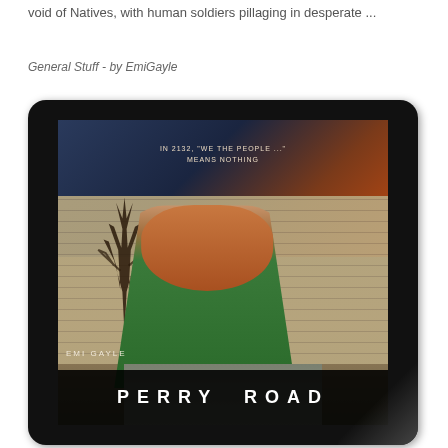void of Natives, with human soldiers pillaging in desperate ...
General Stuff  -  by EmiGayle
[Figure (illustration): A Kindle tablet device displaying the book cover of 'Perry Road' by Emi Gayle. The cover shows a young woman with long auburn hair wearing a green outfit, standing with her back to the viewer, facing a large stone wall. The sky has dramatic dark and orange-red tones. A bare tree is visible on the left. Text on the cover reads: 'IN 2132, "WE THE PEOPLE ..." MEANS NOTHING' at the top, 'EMI GAYLE' near the bottom left, and 'PERRY ROAD' in large white letters on a black bar at the very bottom.]